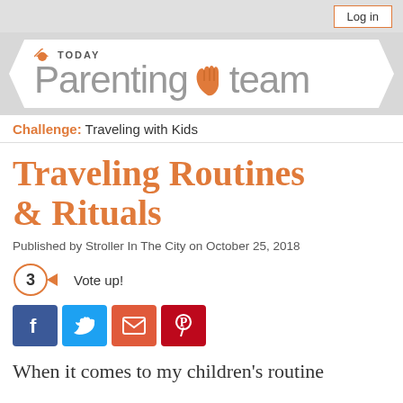[Figure (logo): TODAY Parenting Team logo banner with zigzag ribbon background]
Challenge: Traveling with Kids
Traveling Routines & Rituals
Published by Stroller In The City on October 25, 2018
3  Vote up!
[Figure (infographic): Social sharing buttons: Facebook, Twitter, Email, Pinterest]
When it comes to my children's routine